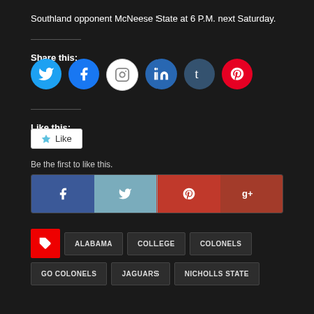Southland opponent McNeese State at 6 P.M. next Saturday.
Share this:
[Figure (infographic): Row of six social media icon circles: Twitter (blue), Facebook (blue), Instagram (white/grey), LinkedIn (dark blue), Tumblr (dark slate), Pinterest (red)]
Like this:
[Figure (infographic): Like button with star icon and text 'Like']
Be the first to like this.
[Figure (infographic): Share bar with four buttons: Facebook (dark blue with f icon), Twitter (steel blue with bird icon), Pinterest (red with P icon), Google+ (dark red with g+ text)]
ALABAMA  COLLEGE  COLONELS
GO COLONELS  JAGUARS  NICHOLLS STATE